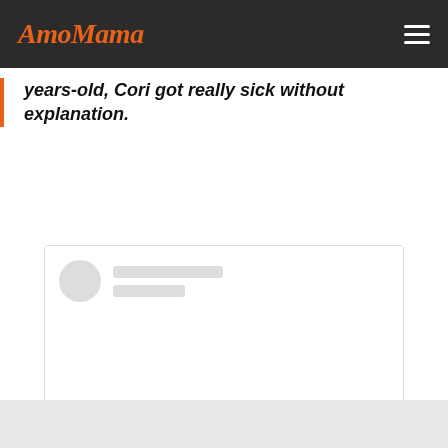AmoMama
years-old, Cori got really sick without explanation.
[Figure (screenshot): Instagram embed placeholder showing avatar placeholder, two gray lines for username/handle, Instagram camera icon in the center, and a 'View this post on Instagram' link in blue.]